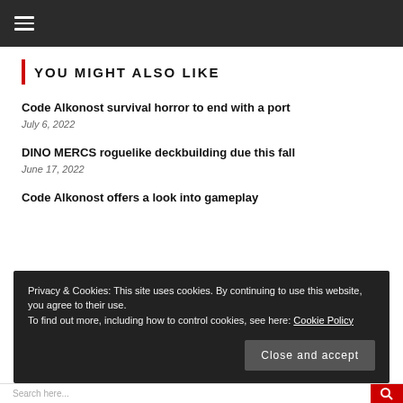≡ (hamburger menu)
YOU MIGHT ALSO LIKE
Code Alkonost survival horror to end with a port
July 6, 2022
DINO MERCS roguelike deckbuilding due this fall
June 17, 2022
Code Alkonost offers a look into gameplay
Privacy & Cookies: This site uses cookies. By continuing to use this website, you agree to their use.
To find out more, including how to control cookies, see here: Cookie Policy
Close and accept